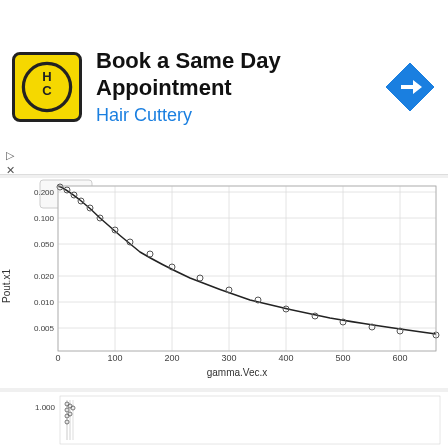[Figure (screenshot): Hair Cuttery advertisement banner: Book a Same Day Appointment with logo and navigation arrow icon]
[Figure (continuous-plot): R-generated plot of Pout.x1 vs gamma.Vec.x showing an exponential decay curve with circular data points on a log scale y-axis. Y-axis (Pout.x1) ranges from 0.005 to 0.200 on log scale. X-axis (gamma.Vec.x) ranges from 0 to 600.]
[Figure (continuous-plot): Partial view of a second R plot showing y-axis starting at 1.000 with densely packed data points near x=0.]